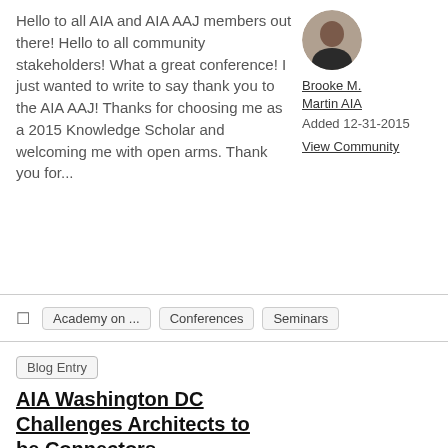Hello to all AIA and AIA AAJ members out there! Hello to all community stakeholders! What a great conference! I just wanted to write to say thank you to the AIA AAJ! Thanks for choosing me as a 2015 Knowledge Scholar and welcoming me with open arms. Thank you for...
Brooke M. Martin AIA
Added 12-31-2015
View Community
Academy on ...
Conferences
Seminars
Blog Entry
AIA Washington DC Challenges Architects to be Connectors
Architects are some of the misunderstood professionals in
A. Lira V. Luis